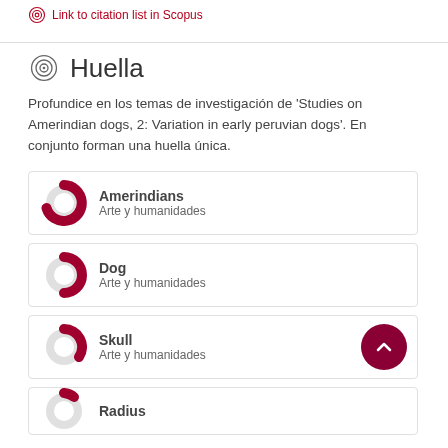Link to citation list in Scopus
Huella
Profundice en los temas de investigación de 'Studies on Amerindian dogs, 2: Variation in early peruvian dogs'. En conjunto forman una huella única.
Amerindians
Arte y humanidades
Dog
Arte y humanidades
Skull
Arte y humanidades
Radius (partial)